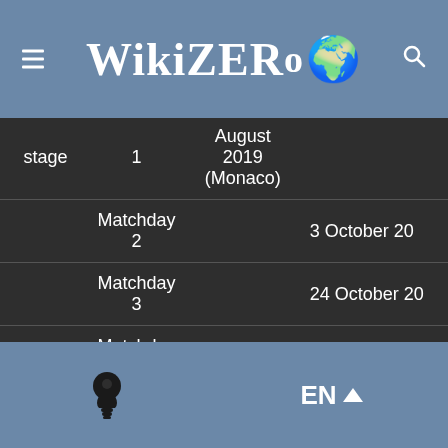WikiZero
| stage | 1 | August 2019 (Monaco) |  |
| --- | --- | --- | --- |
|  | Matchday 2 |  | 3 October 20 |
|  | Matchday 3 |  | 24 October 20 |
|  | Matchday 4 |  | 7 November 2 |
|  | Matchday 5 |  | 28 November 2 |
EN